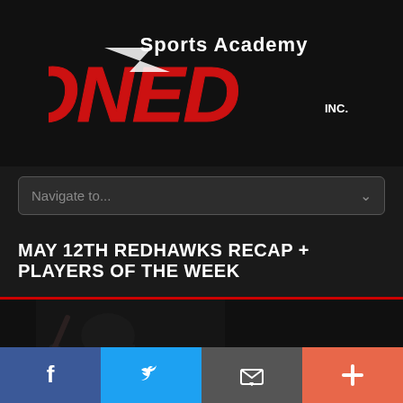[Figure (logo): Sports Academy Zoned Inc. logo — large red italic ZONED text with white 'Sports Academy' above and 'INC.' to the right, on dark background]
[Figure (other): Navigation dropdown bar with placeholder text 'Navigate to...' and a chevron on right, dark gray rounded box]
MAY 12TH REDHAWKS RECAP + PLAYERS OF THE WEEK
[Figure (photo): Baseball player in dark uniform swinging bat on left, large distressed 'PLAYER' text on right, dark background]
[Figure (infographic): Social sharing bar with four buttons: Facebook (blue), Twitter (light blue), Email (gray), Plus/share (orange-red)]